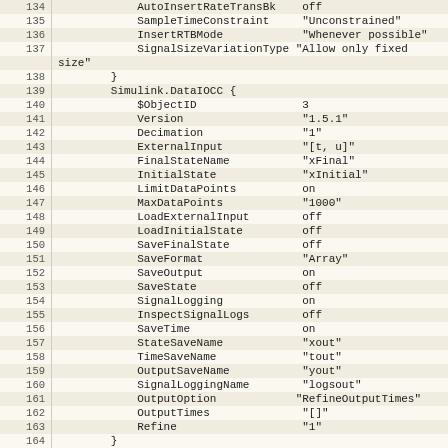| line | code |
| --- | --- |
| 134 |             AutoInsertRateTransBk    off |
| 135 |             SampleTimeConstraint    "Unconstrained" |
| 136 |             InsertRTBMode           "Whenever possible" |
| 137 |             SignalSizeVariationType "Allow only fixed |
|  | size" |
| 138 |         } |
| 139 |         Simulink.DataIOCC { |
| 140 |             $ObjectID                3 |
| 141 |             Version                  "1.5.1" |
| 142 |             Decimation               "1" |
| 143 |             ExternalInput            "[t, u]" |
| 144 |             FinalStateName           "xFinal" |
| 145 |             InitialState             "xInitial" |
| 146 |             LimitDataPoints          on |
| 147 |             MaxDataPoints            "1000" |
| 148 |             LoadExternalInput        off |
| 149 |             LoadInitialState         off |
| 150 |             SaveFinalState           off |
| 151 |             SaveFormat               "Array" |
| 152 |             SaveOutput               on |
| 153 |             SaveState                off |
| 154 |             SignalLogging            on |
| 155 |             InspectSignalLogs        off |
| 156 |             SaveTime                 on |
| 157 |             StateSaveName            "xout" |
| 158 |             TimeSaveName             "tout" |
| 159 |             OutputSaveName           "yout" |
| 160 |             SignalLoggingName        "logsout" |
| 161 |             OutputOption            "RefineOutputTimes" |
| 162 |             OutputTimes              "[]" |
| 163 |             Refine                   "1" |
| 164 |         } |
| 165 |         Simulink.OptimizationCC { |